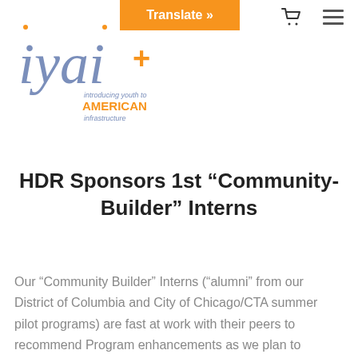iyai+ introducing youth to AMERICAN infrastructure
HDR Sponsors 1st “Community-Builder” Interns
Our “Community Builder” Interns (“alumni” from our District of Columbia and City of Chicago/CTA summer pilot programs) are fast at work with their peers to recommend Program enhancements as we plan to